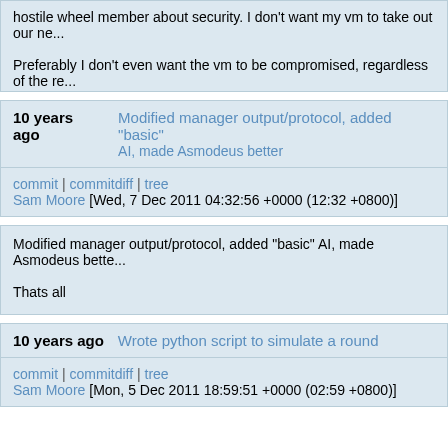hostile wheel member about security. I don't want my vm to take out our ne...

Preferably I don't even want the vm to be compromised, regardless of the re... So much I don't know about servers/linux...

Need to stop staying up past midnight...
10 years ago   Modified manager output/protocol, added "basic" AI, made Asmodeus better
commit | commitdiff | tree
Sam Moore [Wed, 7 Dec 2011 04:32:56 +0000 (12:32 +0800)]
Modified manager output/protocol, added "basic" AI, made Asmodeus bette...

Thats all
10 years ago   Wrote python script to simulate a round
commit | commitdiff | tree
Sam Moore [Mon, 5 Dec 2011 18:59:51 +0000 (02:59 +0800)]